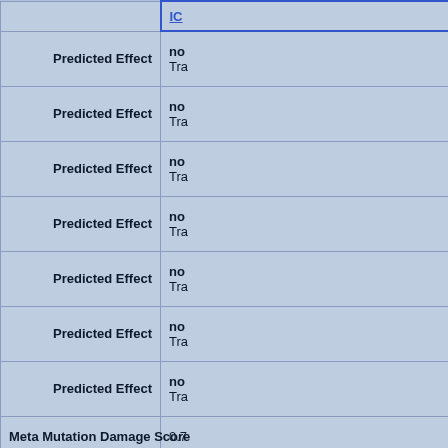| Field | Value |
| --- | --- |
|  | IC... |
| Predicted Effect | no...
Tra... |
| Predicted Effect | no...
Tra... |
| Predicted Effect | no...
Tra... |
| Predicted Effect | no...
Tra... |
| Predicted Effect | no...
Tra... |
| Predicted Effect | no...
Tra... |
| Predicted Effect | no...
Tra... |
| Meta Mutation Damage Score | 0.7... |
| Coding Region Coverage | 1x...
3x...
10... |